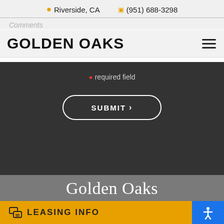Riverside, CA  (951) 688-3298
Comments
GOLDEN OAKS
* required field
SUBMIT >
Golden Oaks
7756 California Ave
Riverside, CA 92504
LEASING INFO